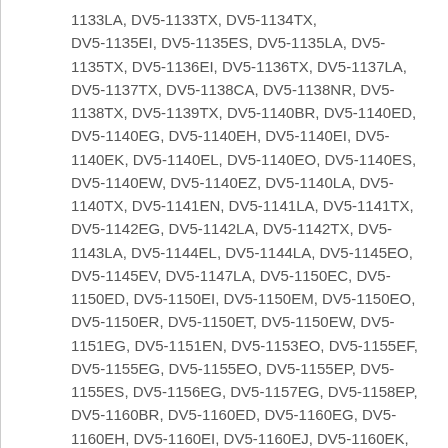1133LA, DV5-1133TX, DV5-1134TX, DV5-1135EI, DV5-1135ES, DV5-1135LA, DV5-1135TX, DV5-1136EI, DV5-1136TX, DV5-1137LA, DV5-1137TX, DV5-1138CA, DV5-1138NR, DV5-1138TX, DV5-1139TX, DV5-1140BR, DV5-1140ED, DV5-1140EG, DV5-1140EH, DV5-1140EI, DV5-1140EK, DV5-1140EL, DV5-1140EO, DV5-1140ES, DV5-1140EW, DV5-1140EZ, DV5-1140LA, DV5-1140TX, DV5-1141EN, DV5-1141LA, DV5-1141TX, DV5-1142EG, DV5-1142LA, DV5-1142TX, DV5-1143LA, DV5-1144EL, DV5-1144LA, DV5-1145EO, DV5-1145EV, DV5-1147LA, DV5-1150EC, DV5-1150ED, DV5-1150EI, DV5-1150EM, DV5-1150EO, DV5-1150ER, DV5-1150ET, DV5-1150EW, DV5-1151EG, DV5-1151EN, DV5-1153EO, DV5-1155EF, DV5-1155EG, DV5-1155EO, DV5-1155EP, DV5-1155ES, DV5-1156EG, DV5-1157EG, DV5-1158EP, DV5-1160BR, DV5-1160ED, DV5-1160EG, DV5-1160EH, DV5-1160EI, DV5-1160EJ, DV5-1160EK, DV5-1160EN, DV5-1160EO, DV5-1160ET, DV5-1160EV, DV5-